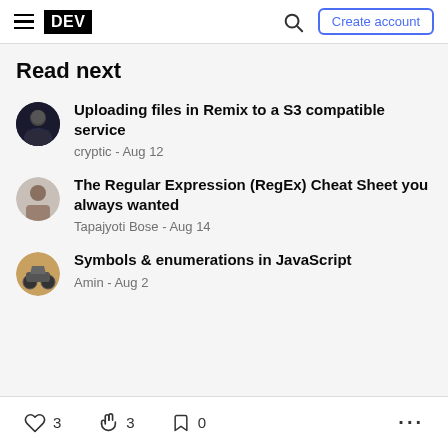DEV — Create account
Read next
Uploading files in Remix to a S3 compatible service — cryptic - Aug 12
The Regular Expression (RegEx) Cheat Sheet you always wanted — Tapajyoti Bose - Aug 14
Symbols & enumerations in JavaScript — Amin - Aug 2
3  3  0  ...